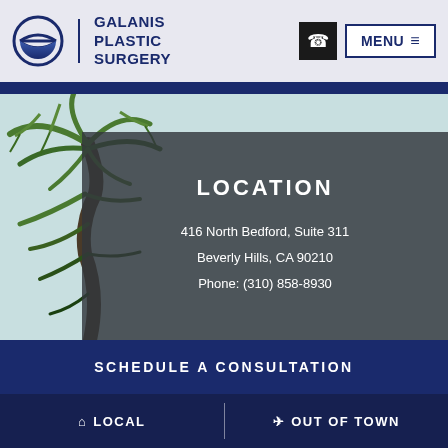GALANIS PLASTIC SURGERY
[Figure (photo): Palm tree with sky background, Beverly Hills aesthetic]
LOCATION
416 North Bedford, Suite 311
Beverly Hills, CA 90210
Phone: (310) 858-8930
SCHEDULE A CONSULTATION
LOCAL  |  OUT OF TOWN